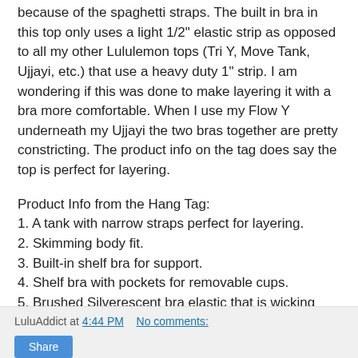because of the spaghetti straps. The built in bra in this top only uses a light 1/2" elastic strip as opposed to all my other Lululemon tops (Tri Y, Move Tank, Ujjayi, etc.) that use a heavy duty 1" strip. I am wondering if this was done to make layering it with a bra more comfortable. When I use my Flow Y underneath my Ujjayi the two bras together are pretty constricting. The product info on the tag does say the top is perfect for layering.
Product Info from the Hang Tag:
1. A tank with narrow straps perfect for layering.
2. Skimming body fit.
3. Built-in shelf bra for support.
4. Shelf bra with pockets for removable cups.
5. Brushed Silverescent bra elastic that is wicking and anti-stink.
6. Made with luon, our signature fabric.
7. Chafe resistant - flat seamed.
LuluAddict at 4:44 PM   No comments:   Share